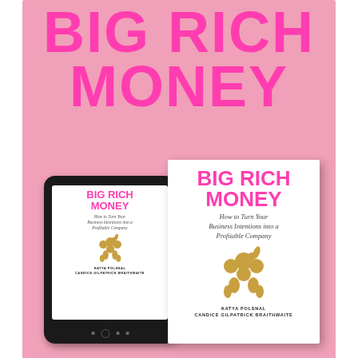BIG RICH MONEY
[Figure (illustration): Book cover mockup showing a tablet device and a physical book, both displaying the 'Big Rich Money' cover with a gold balloon dog figurine on a white background with pink title text. Authors: Katya Polsnal, Candice Gilpatrick Braithwaite.]
Big Rich Money: How To Turn Your Business Intentions Into A Profitable Company